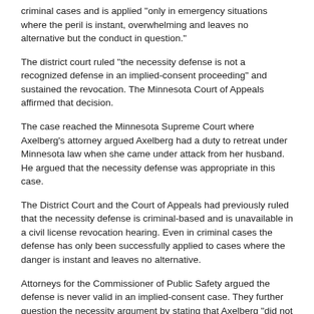criminal cases and is applied "only in emergency situations where the peril is instant, overwhelming and leaves no alternative but the conduct in question."
The district court ruled "the necessity defense is not a recognized defense in an implied-consent proceeding" and sustained the revocation. The Minnesota Court of Appeals affirmed that decision.
The case reached the Minnesota Supreme Court where Axelberg's attorney argued Axelberg had a duty to retreat under Minnesota law when she came under attack from her husband. He argued that the necessity defense was appropriate in this case.
The District Court and the Court of Appeals had previously ruled that the necessity defense is criminal-based and is unavailable in a civil license revocation hearing. Even in criminal cases the defense has only been successfully applied to cases where the danger is instant and leaves no alternative.
Attorneys for the Commissioner of Public Safety argued the defense is never valid in an implied-consent case. They further question the necessity argument by stating that Axelberg "did not appear to be in imminent danger. [Axelberg] displayed no observable injuries," according the documents they filed.
To date the Minnesota Supreme Court has not reached a verdict on this